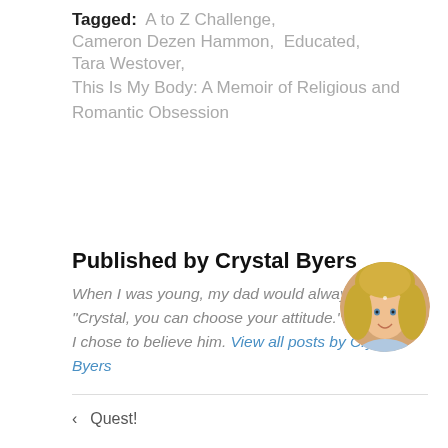Tagged: A to Z Challenge, Cameron Dezen Hammon, Educated, Tara Westover, This Is My Body: A Memoir of Religious and Romantic Obsession
Published by Crystal Byers
When I was young, my dad would always say, "Crystal, you can choose your attitude." One day I chose to believe him. View all posts by Crystal Byers
[Figure (photo): Circular avatar photo of Crystal Byers, a blonde woman smiling]
< Quest!